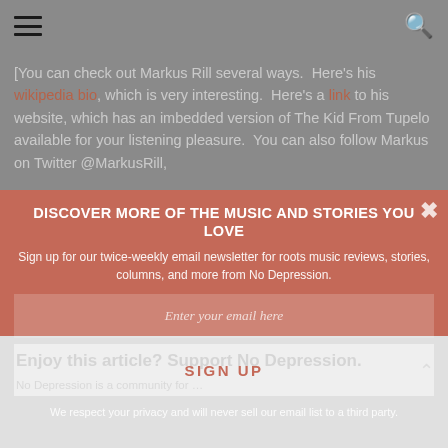Navigation and search bar
[You can check out Markus Rill several ways.  Here's his wikipedia bio, which is very interesting.  Here's a link to his website, which has an imbedded version of The Kid From Tupelo available for your listening pleasure.  You can also follow Markus on Twitter @MarkusRill, and Mando Lines is on Twitter @mando_lines
DISCOVER MORE OF THE MUSIC AND STORIES YOU LOVE
Sign up for our twice-weekly email newsletter for roots music reviews, stories, columns, and more from No Depression.
Enter your email here
SIGN UP
We respect your privacy and will never sell our email list to a third party.
Enjoy this article? Support No Depression.